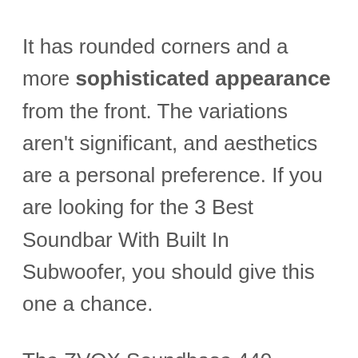It has rounded corners and a more sophisticated appearance from the front. The variations aren't significant, and aesthetics are a personal preference. If you are looking for the 3 Best Soundbar With Built In Subwoofer, you should give this one a chance.
The ZVOX Soundbase 440 contains a feature called Accuvoice that will brighten your day if you desire crystal-clear